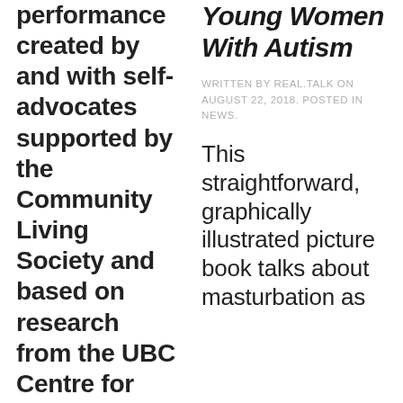performance created by and with self-advocates supported by the Community Living Society and based on research from the UBC Centre for Inclusion and Citizenship
Young Women With Autism
WRITTEN BY REAL.TALK ON AUGUST 22, 2018. POSTED IN NEWS.
This straightforward, graphically illustrated picture book talks about masturbation as